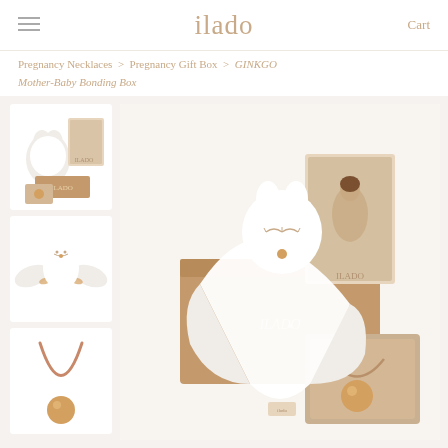ilado  Cart
Pregnancy Necklaces > Pregnancy Gift Box > GINKGO Mother-Baby Bonding Box
[Figure (photo): Product page for GINKGO Mother-Baby Bonding Box by ilado. Main center image shows a white plush owl/angel comforter toy draped over a tan/brown gift box labeled ILADO, with a book featuring a pregnant woman and an ILADO pregnancy necklace in a beige box visible to the right. Left column shows three thumbnails: top thumbnail shows the full gift set with box and necklace, middle thumbnail shows the white plush angel comforter with wings spread, bottom thumbnail shows a rose gold pregnancy necklace with a round ball pendant.]